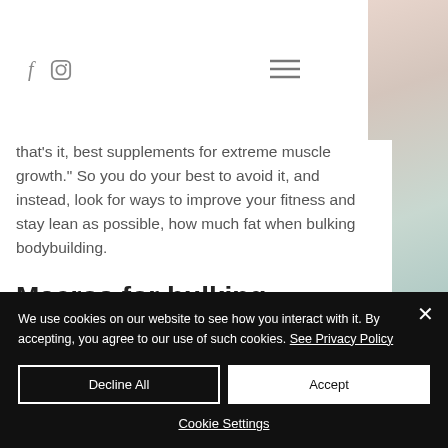g is ... ut
[Figure (illustration): Social media icons: Facebook (f) and Instagram]
[Figure (illustration): Hamburger menu icon (three horizontal lines)]
that's it, best supplements for extreme muscle growth." So you do your best to avoid it, and instead, look for ways to improve your fitness and stay lean as possible, how much fat when bulking bodybuilding.
Macros for bulking
Using a Bulking Stack is your best bet if you want to dramatically speed up your muscle
We use cookies on our website to see how you interact with it. By accepting, you agree to our use of such cookies. See Privacy Policy
Decline All
Accept
Cookie Settings